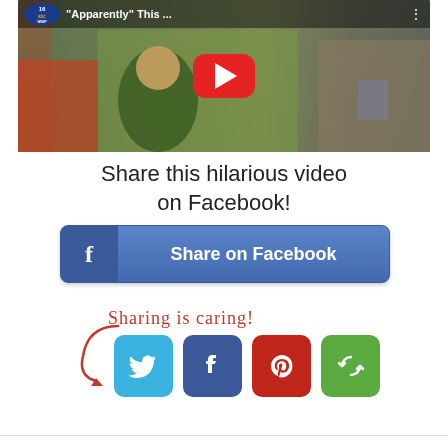[Figure (screenshot): YouTube video thumbnail showing a boy being interviewed, with WNEP 16 ABC logo and title 'Apparently This...' in top bar, red YouTube play button overlay]
Share this hilarious video on Facebook!
[Figure (other): Blue Facebook share button with 'f' icon on left and 'Share on Facebook' text]
[Figure (infographic): Sharing is caring! text in red cursive with arrow, followed by Twitter, Facebook, Pinterest, and More social share icon buttons]